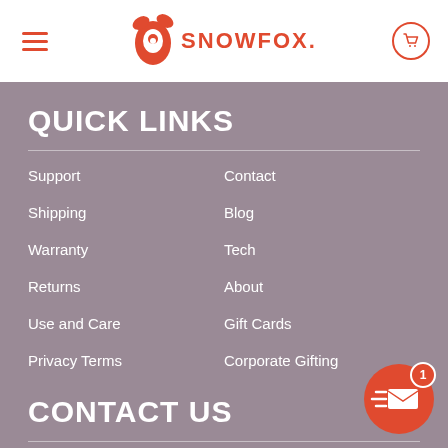SNOWFOX
QUICK LINKS
Support
Contact
Shipping
Blog
Warranty
Tech
Returns
About
Use and Care
Gift Cards
Privacy Terms
Corporate Gifting
CONTACT US
support@snowfox.fun